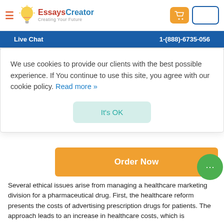EssaysCreator — Creating Your Future | Live Chat | 1-(888)-6735-056
[Figure (screenshot): Cookie consent modal with text: We use cookies to provide our clients with the best possible experience. If You continue to use this site, you agree with our cookie policy. Read more » — with an It's OK button]
[Figure (screenshot): Order Now orange button and green chat bubble with ellipsis]
Several ethical issues arise from managing a healthcare marketing division for a pharmaceutical drug. First, the healthcare reform presents the costs of advertising prescription drugs for patients. The approach leads to an increase in healthcare costs, which is